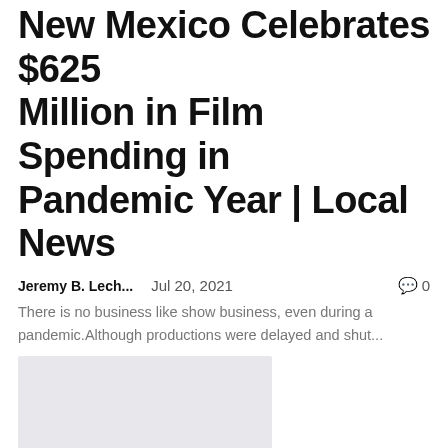New Mexico Celebrates $625 Million in Film Spending in Pandemic Year | Local News
Jeremy B. Lech...    Jul 20, 2021    💬 0
There is no business like show business, even during a pandemic.Although productions were delayed and shut...
[Figure (photo): Gray image placeholder for article thumbnail]
What events will Game of Thrones characters face off at the Olympics?